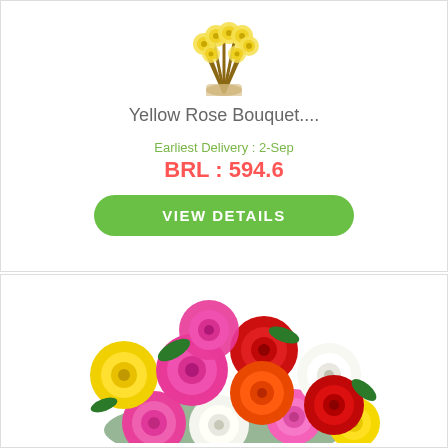[Figure (photo): Yellow rose bouquet from above, showing wrapped stems and flower tops]
Yellow Rose Bouquet....
Earliest Delivery : 2-Sep
BRL : 594.6
VIEW DETAILS
[Figure (photo): Colorful mixed rose bouquet with pink, red, yellow, white, and orange roses]